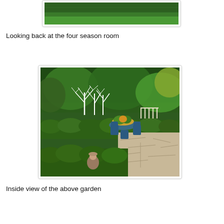[Figure (photo): Partial top view of a grassy outdoor area, likely the four season room garden area, cropped at the top of the page.]
Looking back at the four season room
[Figure (photo): Inside view of a formal garden with neatly trimmed boxwood hedges, a garden sculpture of a child figure in foreground, white branch-like decorative structures, blue metal garden furniture with a bowl of decorative vegetables/fruit on a table, and a flagstone patio surrounded by dense green shrubs and trees.]
Inside view of the above garden